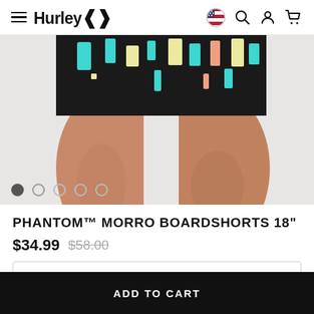Hurley
[Figure (photo): Close-up photo of a person's legs wearing colorful Phantom Morro boardshorts with a tribal/geometric pattern in black, teal, yellow, and pink/orange on a light gray background. Carousel navigation dots are visible at the bottom left of the image.]
PHANTOM™ MORRO BOARDSHORTS 18"
$34.99 $58.00
ADD TO CART